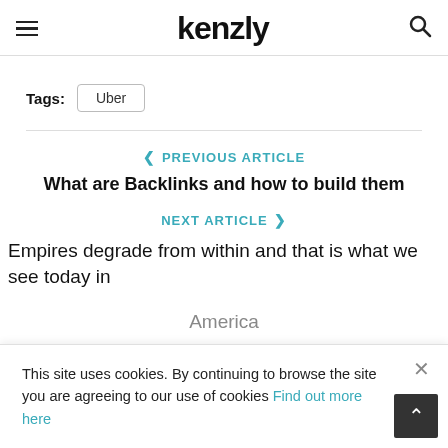kenzly
Tags: Uber
PREVIOUS ARTICLE
What are Backlinks and how to build them
NEXT ARTICLE
Empires degrade from within and that is what we see today in America
This site uses cookies. By continuing to browse the site you are agreeing to our use of cookies Find out more here